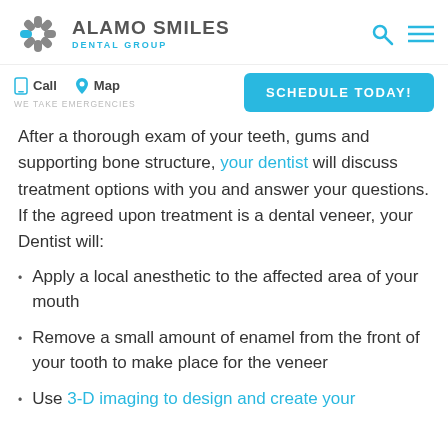[Figure (logo): Alamo Smiles Dental Group logo with a stylized flower/asterisk icon in grey and blue, and company name in grey bold uppercase with blue subtitle]
Call  Map  WE TAKE EMERGENCIES  SCHEDULE TODAY!
After a thorough exam of your teeth, gums and supporting bone structure, your dentist will discuss treatment options with you and answer your questions. If the agreed upon treatment is a dental veneer, your Dentist will:
Apply a local anesthetic to the affected area of your mouth
Remove a small amount of enamel from the front of your tooth to make place for the veneer
Use 3-D imaging to design and create your